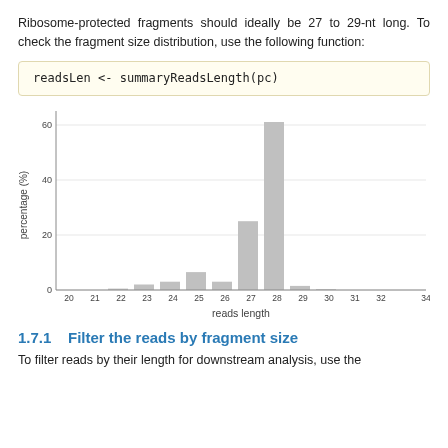Ribosome-protected fragments should ideally be 27 to 29-nt long. To check the fragment size distribution, use the following function:
[Figure (bar-chart): ]
1.7.1    Filter the reads by fragment size
To filter reads by their length for downstream analysis, use the